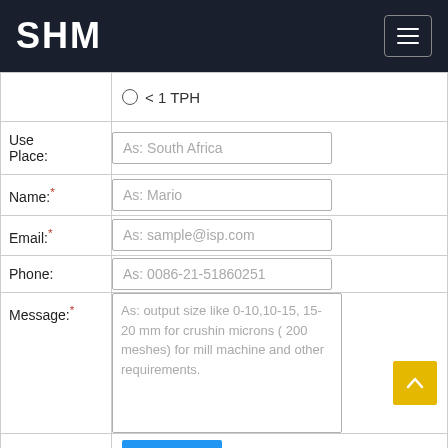SHM
○ < 1 TPH
Use Place:
As: South Africa
Name:*
As: Mario
Email:*
As: sample@isp.com
Phone:
As: 0086-21-51860251
Message:*
As: output size like 0-10,10-15, 15-20 mm for crushing or 75 microns ( 200 meshes) for mill machine and other requirements.